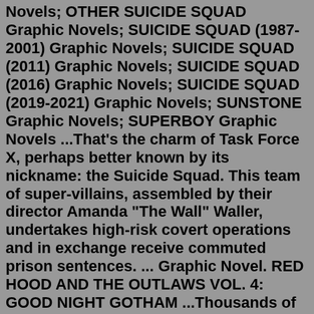Novels; OTHER SUICIDE SQUAD Graphic Novels; SUICIDE SQUAD (1987-2001) Graphic Novels; SUICIDE SQUAD (2011) Graphic Novels; SUICIDE SQUAD (2016) Graphic Novels; SUICIDE SQUAD (2019-2021) Graphic Novels; SUNSTONE Graphic Novels; SUPERBOY Graphic Novels ...That's the charm of Task Force X, perhaps better known by its nickname: the Suicide Squad. This team of super-villains, assembled by their director Amanda "The Wall" Waller, undertakes high-risk covert operations and in exchange receive commuted prison sentences. ... Graphic Novel. RED HOOD AND THE OUTLAWS VOL. 4: GOOD NIGHT GOTHAM ...Thousands of New & Used Items Eligible for Free Shipping. ... Gesso Squad the Graphic Novel Volume One: 1,000 Star Demons and a Rain God by V J Brockett (Illustrator) ... Read More All from $32.16; Used Books from $32.16; All Copies (1) Softcover (1) Choose Edition (1) ...The monthly, downloadable catalog of DC's comics, graphic novels, collectibles and more! From the Mind of Neil Gaiman. The